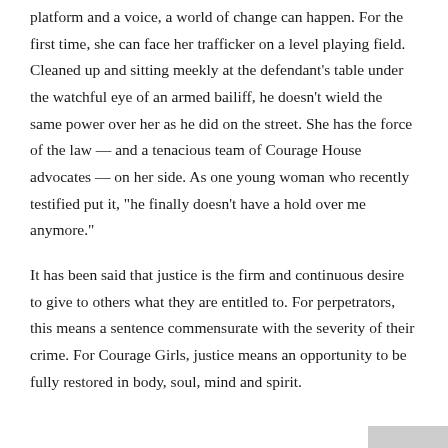platform and a voice, a world of change can happen. For the first time, she can face her trafficker on a level playing field. Cleaned up and sitting meekly at the defendant’s table under the watchful eye of an armed bailiff, he doesn’t wield the same power over her as he did on the street. She has the force of the law — and a tenacious team of Courage House advocates — on her side. As one young woman who recently testified put it, “he finally doesn’t have a hold over me anymore.”
It has been said that justice is the firm and continuous desire to give to others what they are entitled to. For perpetrators, this means a sentence commensurate with the severity of their crime. For Courage Girls, justice means an opportunity to be fully restored in body, soul, mind and spirit.